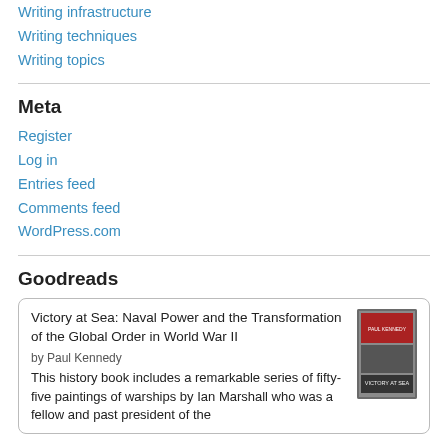Writing infrastructure
Writing techniques
Writing topics
Meta
Register
Log in
Entries feed
Comments feed
WordPress.com
Goodreads
Victory at Sea: Naval Power and the Transformation of the Global Order in World War II
by Paul Kennedy
This history book includes a remarkable series of fifty-five paintings of warships by Ian Marshall who was a fellow and past president of the